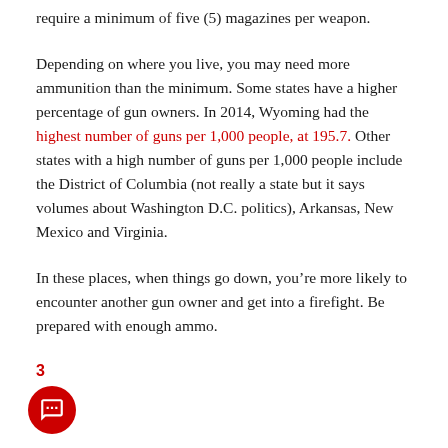require a minimum of five (5) magazines per weapon.
Depending on where you live, you may need more ammunition than the minimum. Some states have a higher percentage of gun owners. In 2014, Wyoming had the highest number of guns per 1,000 people, at 195.7. Other states with a high number of guns per 1,000 people include the District of Columbia (not really a state but it says volumes about Washington D.C. politics), Arkansas, New Mexico and Virginia.
In these places, when things go down, you’re more likely to encounter another gun owner and get into a firefight. Be prepared with enough ammo.
3